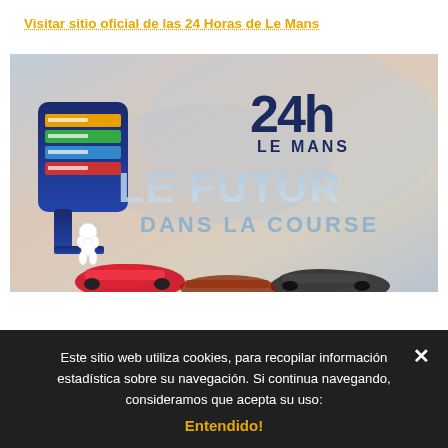Visitar sitio oficial de las 24 Horas de Le Mans
[Figure (illustration): 24 Heures du Mans promotional poster — 'LE FUTUR DANS LA COURSE'. Shows the 24h Le Mans logo, Michelin mascot (Bibendum), race cars at bottom, and world map background. Blue, red, and white color scheme.]
Este sitio web utiliza cookies, para recopilar información estadística sobre su navegación. Si continua navegando, consideramos que acepta su uso:
Entendido!